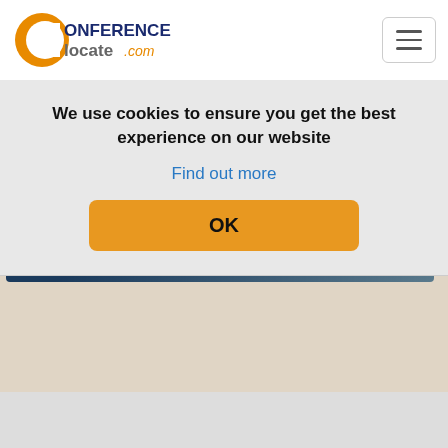[Figure (logo): ConferenceLocate.com logo with orange C and blue/gray text]
We use cookies to ensure you get the best experience on our website
Find out more
OK
Jeju, Korea (South)
View hotels near venue
Promote this Event